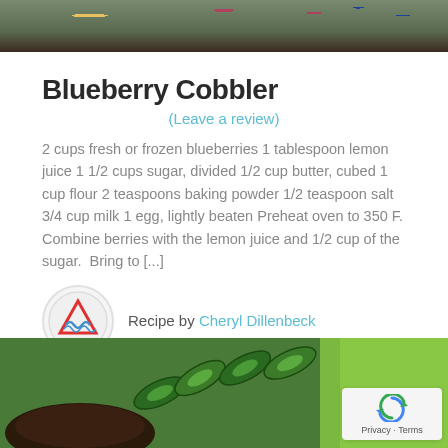[Figure (photo): Top portion of a blueberry cobbler food photo showing blueberries, a golden biscuit/cobbler topping, and dark background]
Blueberry Cobbler
(Leave a review)
2 cups fresh or frozen blueberries 1 tablespoon lemon juice 1 1/2 cups sugar, divided 1/2 cup butter, cubed 1 cup flour 2 teaspoons baking powder 1/2 teaspoon salt 3/4 cup milk 1 egg, lightly beaten Preheat oven to 350 F. Combine berries with the lemon juice and 1/2 cup of the sugar. Bring to [...]
Recipe by Cheryl Dillenbeck
[Figure (photo): Bottom food photo showing sliced zucchini and a dark baked good on a green background]